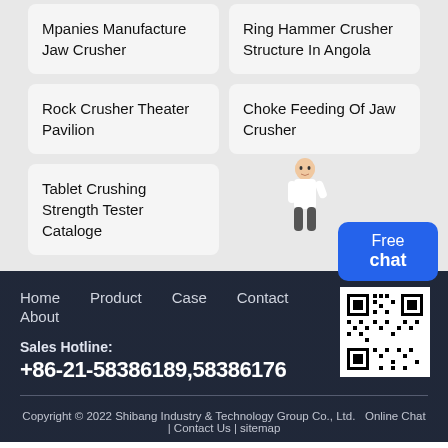Mpanies Manufacture Jaw Crusher
Ring Hammer Crusher Structure In Angola
Rock Crusher Theater Pavilion
Choke Feeding Of Jaw Crusher
Tablet Crushing Strength Tester Cataloge
[Figure (other): Free chat button with blue background showing 'Free chat' text]
Home   Product   Case   Contact
About
[Figure (other): QR code for website]
Sales Hotline:
+86-21-58386189,58386176
Copyright © 2022 Shibang Industry & Technology Group Co., Ltd.   Online Chat | Contact Us | sitemap